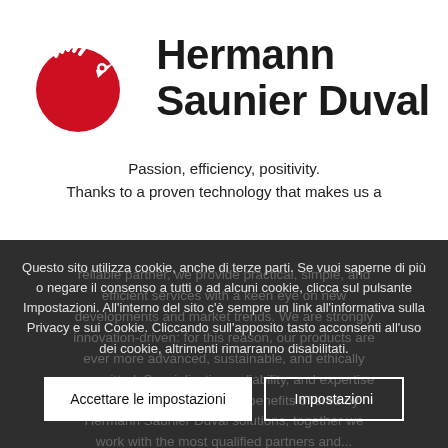[Figure (logo): Hermann Saunier Duval logo: red stylized bird/hand graphic on left, bold dark text 'Hermann Saunier Duval' on right]
Passion, efficiency, positivity.
Thanks to a proven technology that makes us a reliable partner, we provide practical, simple, and efficient services with a keen eye on new developments and market trends. We are strongly innovation-driven: for this reason, our products are ever more advanced, sustainable, and ethically committed. Specialization, reliability, and expertise are just some of the many benefits offered by Hermann Saunier Duval solutions, together we work with the most qualified partners and...
Questo sito utilizza cookie, anche di terze parti. Se vuoi saperne di più o negare il consenso a tutti o ad alcuni cookie, clicca sul pulsante Impostazioni. All'interno del sito c'è sempre un link all'informativa sulla Privacy e sui Cookie. Cliccando sull'apposito tasto acconsenti all'uso dei cookie, altrimenti rimarranno disabilitati.
Accettare le impostazioni
Impostazioni